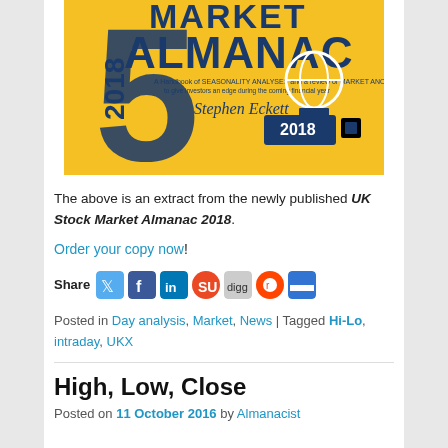[Figure (illustration): Book cover of UK Stock Market Almanac 2018 by Stephen Eckett — yellow background with large dark blue '5' shape and 'MARKET ALMANAC 2018' text]
The above is an extract from the newly published UK Stock Market Almanac 2018.
Order your copy now!
[Figure (infographic): Share icons row: Share label followed by Twitter, Facebook, LinkedIn, StumbleUpon, Digg, Reddit, Delicious icons]
Posted in Day analysis, Market, News | Tagged Hi-Lo, intraday, UKX
High, Low, Close
Posted on 11 October 2016 by Almanacist